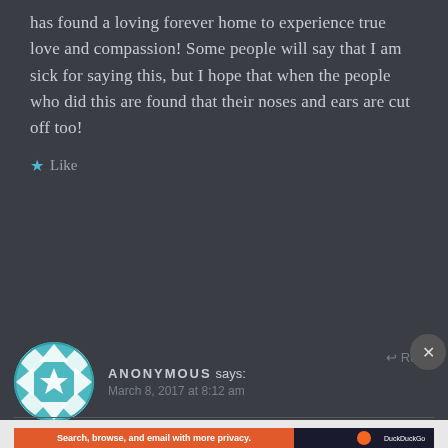has found a loving forever home to experience true love and compassion! Some people will say that I am sick for saying this, but I hope that when the people who did this are found that their noses and ears are cut off too!
★ Like
ANONYMOUS says:  March 8, 2017 at 8:12 am  ↩ Reply
[Figure (screenshot): DuckDuckGo advertisement banner: orange background with text 'Search, browse, and email with more privacy. All in One Free App' and DuckDuckGo logo on right dark panel]
Advertisements